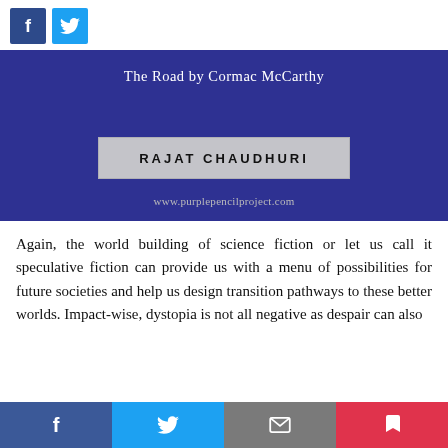[Figure (screenshot): Top social share buttons: Facebook (dark blue) and Twitter (light blue) icon buttons]
[Figure (illustration): Book cover banner for 'The Road by Cormac McCarthy' on dark blue background, with author name 'RAJAT CHAUDHURI' in a grey box, and website www.purplepencilproject.com]
Again, the world building of science fiction or let us call it speculative fiction can provide us with a menu of possibilities for future societies and help us design transition pathways to these better worlds. Impact-wise, dystopia is not all negative as despair can also
[Figure (screenshot): Bottom social share bar with four buttons: Facebook (dark blue), Twitter (light blue), Email (grey), Pocket (red)]